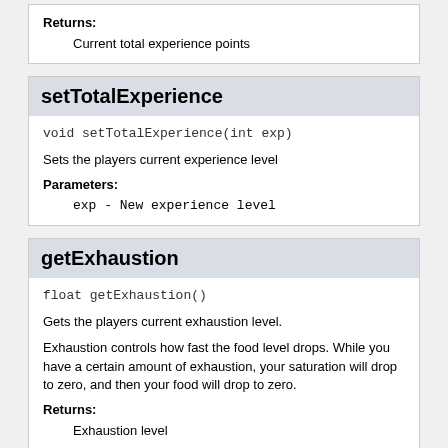Returns:
Current total experience points
setTotalExperience
void setTotalExperience(int exp)
Sets the players current experience level
Parameters:
exp - New experience level
getExhaustion
float getExhaustion()
Gets the players current exhaustion level.
Exhaustion controls how fast the food level drops. While you have a certain amount of exhaustion, your saturation will drop to zero, and then your food will drop to zero.
Returns:
Exhaustion level